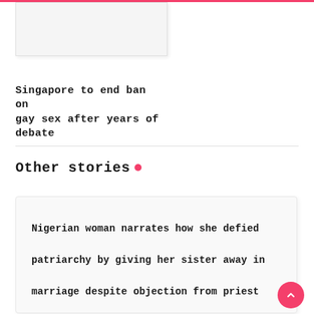[Figure (photo): Article thumbnail image placeholder (light gray card)]
Singapore to end ban on gay sex after years of debate
Other stories
[Figure (photo): Larger story card with light gray background]
Nigerian woman narrates how she defied patriarchy by giving her sister away in marriage despite objection from priest